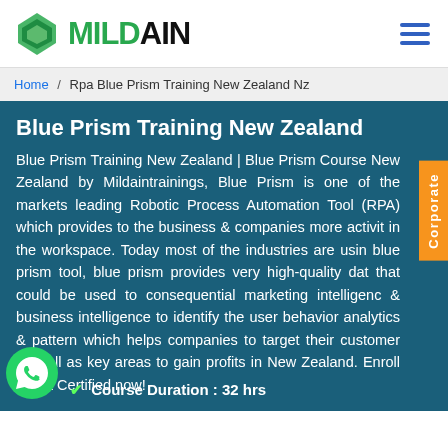MILDAIN
Home / Rpa Blue Prism Training New Zealand Nz
Blue Prism Training New Zealand
Blue Prism Training New Zealand | Blue Prism Course New Zealand by Mildaintrainings, Blue Prism is one of the markets leading Robotic Process Automation Tool (RPA) which provides to the business & companies more activity in the workspace. Today most of the industries are using blue prism tool, blue prism provides very high-quality data that could be used to consequential marketing intelligence & business intelligence to identify the user behavior analytics & pattern which helps companies to target their customer as well as key areas to gain profits in New Zealand. Enroll & Get Certified now!
Course Duration : 32 hrs